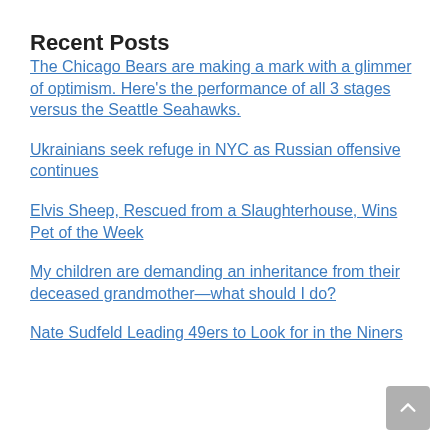Recent Posts
The Chicago Bears are making a mark with a glimmer of optimism. Here's the performance of all 3 stages versus the Seattle Seahawks.
Ukrainians seek refuge in NYC as Russian offensive continues
Elvis Sheep, Rescued from a Slaughterhouse, Wins Pet of the Week
My children are demanding an inheritance from their deceased grandmother—what should I do?
Nate Sudfeld Leading 49ers to Look for in the Niners